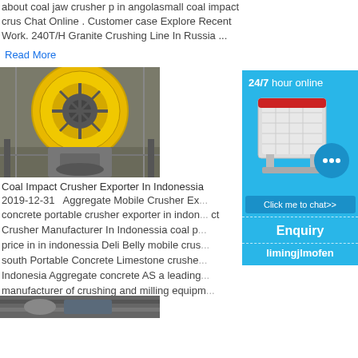about coal jaw crusher p in angolasmall coal impact crus Chat Online . Customer case Explore Recent Work. 240T/H Granite Crushing Line In Russia ...
Read More
[Figure (photo): Industrial yellow ball mill or rotary drum machine with metal framework, viewed from below]
Coal Impact Crusher Exporter In Indonessia
2019-12-31   Aggregate Mobile Crusher Ex... concrete portable crusher exporter in indon... ct Crusher Manufacturer In Indonessia coal p... price in in indonessia Deli Belly mobile crus... south Portable Concrete Limestone crushe... Indonesia Aggregate concrete AS a leading... manufacturer of crushing and milling equipm...
Read More
[Figure (photo): Partial view of another industrial machine at the bottom]
[Figure (infographic): Side panel with blue background showing 24/7 hour online text, industrial crusher machine image, chat bubble icon, Click me to chat>> button, Enquiry section, and limingjlmofen username]